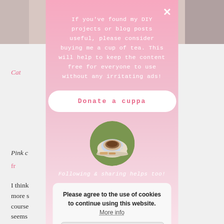[Figure (screenshot): Background blog page showing partial text and pink styled links about clothing items, partially obscured by modal overlay]
If you've found my DIY projects or blog posts useful, please consider buying me a cup of tea. This will help to keep the content free for everyone to use without any irritating ads!
[Figure (photo): Circular photo of a cup of tea with biscuits on a saucer, on an outdoor table]
Following & sharing helps too!
Please agree to the use of cookies to continue using this website. More info
Accept